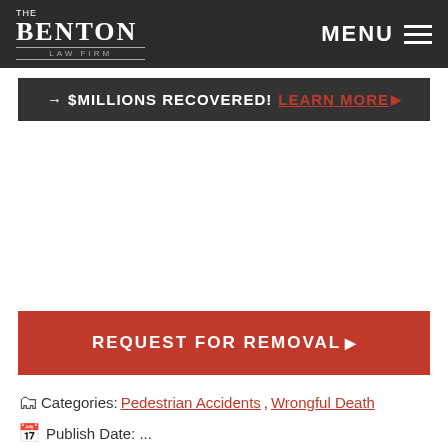The Benton Law Firm — MENU
→ $MILLIONS RECOVERED! LEARN MORE ▶
REQUEST FOR REMOVAL ▶
Categories: Pedestrian Accidents, Wrongful Death
Publish Date: ...